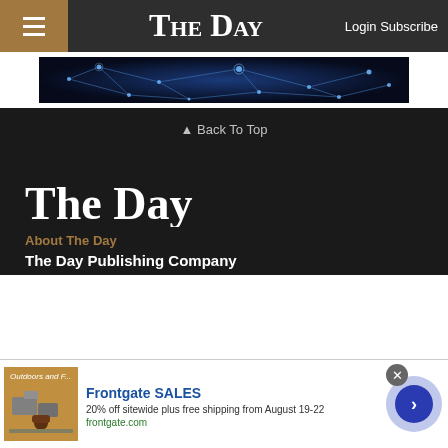The Day — Login Subscribe
[Figure (photo): Neural network or brain cell visualization on dark blue background]
▲ Back To Top
[Figure (logo): The Day newspaper logo in white old-english font on dark background]
About The Day
The Day Publishing Company
[Figure (screenshot): Advertisement: Frontgate SALES — 20% off sitewide plus free shipping from August 19-22. frontgate.com. Shows outdoor furniture image on left and navigation arrow on right.]